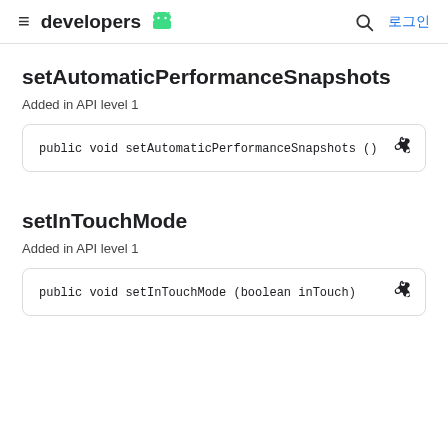≡ developers [android logo] 🔍 로그인
setAutomaticPerformanceSnapshots
Added in API level 1
public void setAutomaticPerformanceSnapshots ()
setInTouchMode
Added in API level 1
public void setInTouchMode (boolean inTouch)